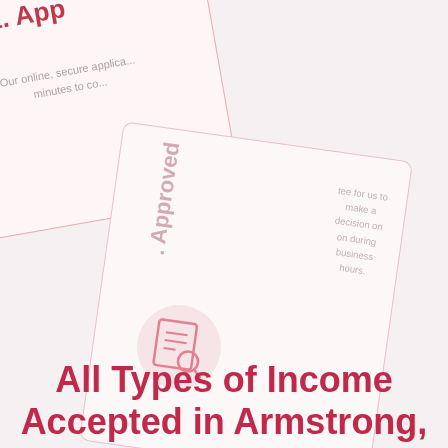[Figure (illustration): Two overlapping tilted cards. The first card (top-left, rotated counter-clockwise) shows step '1. App...' header in red and partial text 'Our online, secure applica... minutes to co...' in grey. The second card (center-right, rotated clockwise) shows 'Approved' text in pink rotated vertically and partial text 'tee for us to make a decision on on during business hours.' with a circular icon of a document with a magnifying glass.]
All Types of Income Accepted in Armstrong,